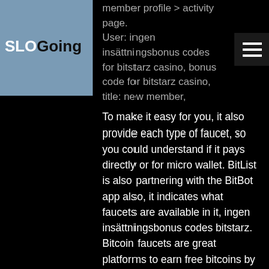SLOGoing
member profile &gt; activity page. User: ingen insättningsbonus codes for bitstarz casino, bonus code for bitstarz casino, title: new member,
To make it easy for you, it also provide each type of faucet, so you could understand if it pays directly or for micro wallet. BitList is also partnering with the BitBot app also, it indicates what faucets are available in it, ingen insättningsbonus codes bitstarz. Bitcoin faucets are great platforms to earn free bitcoins by simply visiting a website and completing simple tasks like captcha or surveys.
Today's winners:
Gemstone of Aztec - 604.2 eth
At the Movies - 261.9 usdt
Triple Diamond - 95.1 btc
Fruit Cocktail 2 - 634.5 eth
Jingle Jingle - 646.5 eth